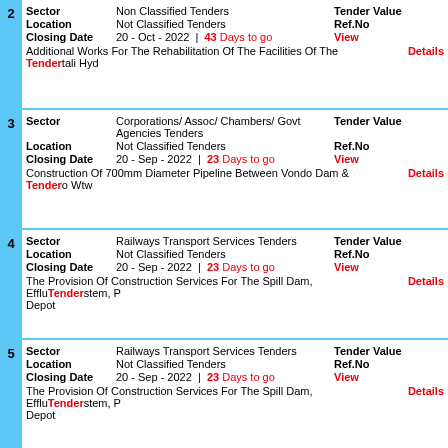2 | Sector: Non Classified Tenders | Tender Value | Location: Not Classified Tenders | Ref.No | Closing Date: 10 - Oct - 2022 | 43 Days to go | View Tender Details | Additional Works For The Rehabilitation Of The Facilities Of The Manantali Hyd...
3 | Sector: Corporations/ Assoc/ Chambers/ Govt Agencies Tenders | Tender Value | Location: Not Classified Tenders | Ref.No | Closing Date: 20 - Sep - 2022 | 23 Days to go | View Tender Details | Construction Of 700mm Diameter Pipeline Between Vondo Dam & Vondo Wtw...
4 | Sector: Railways Transport Services Tenders | Tender Value | Location: Not Classified Tenders | Ref.No | Closing Date: 20 - Sep - 2022 | 23 Days to go | View Tender Details | The Provision Of Construction Services For The Spill Dam, Effluent System, P... Depot
5 | Sector: Railways Transport Services Tenders | Tender Value | Location: Not Classified Tenders | Ref.No | Closing Date: 20 - Sep - 2022 | 23 Days to go | View Tender Details | The Provision Of Construction Services For The Spill Dam, Effluent System, P... Depot